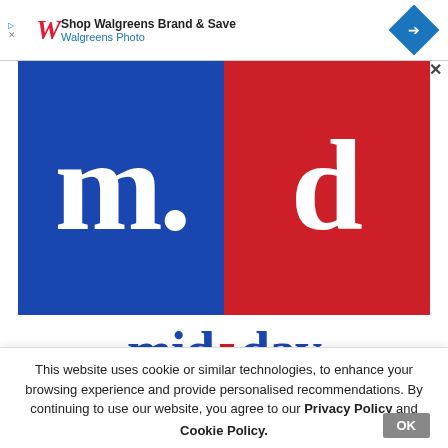[Figure (screenshot): Walgreens advertisement bar at top of browser page showing Walgreens logo, 'Shop Walgreens Brand & Save' text, 'Walgreens Photo' subtitle, and blue diamond arrow icon]
[Figure (logo): mid-day news website logo: large white 'm' on blue background and large white 'd' on red background forming a square block logo, with 'mid-day' text below in blue with a red square dot separator]
This website uses cookie or similar technologies, to enhance your browsing experience and provide personalised recommendations. By continuing to use our website, you agree to our Privacy Policy and Cookie Policy.